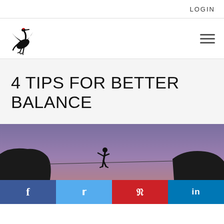LOGIN
[Figure (logo): Black ink crane/bird logo in Japanese art style with red accent on head]
4 TIPS FOR BETTER BALANCE
[Figure (photo): Silhouette of a person walking a tightrope/slackline between two large rocks against a purple/blue dusk sky]
[Figure (infographic): Social sharing bar with Facebook, Twitter, Pinterest, and LinkedIn buttons]